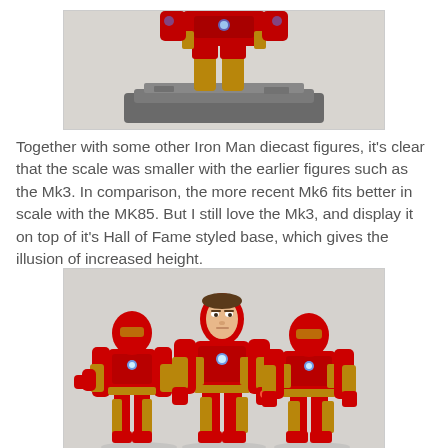[Figure (photo): Partial view of an Iron Man diecast figure on a rocky/stone base, cropped at top of page]
Together with some other Iron Man diecast figures, it's clear that the scale was smaller with the earlier figures such as the Mk3. In comparison, the more recent Mk6 fits better in scale with the MK85. But I still love the Mk3, and display it on top of it's Hall of Fame styled base, which gives the illusion of increased height.
[Figure (photo): Three Iron Man diecast action figures standing side by side against a grey background: left figure is Mk3 (red and gold), center figure is MK85 with open helmet showing Tony Stark face, right figure is Mk6 (red and gold)]